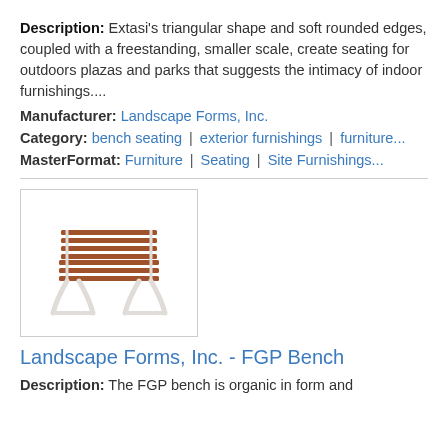Description: Extasi's triangular shape and soft rounded edges, coupled with a freestanding, smaller scale, create seating for outdoors plazas and parks that suggests the intimacy of indoor furnishings....
Manufacturer: Landscape Forms, Inc.
Category: bench seating | exterior furnishings | furniture...
MasterFormat: Furniture | Seating | Site Furnishings...
[Figure (photo): Photo of a park bench with wooden slats and white metal legs - FGP Bench by Landscape Forms, Inc.]
Landscape Forms, Inc. - FGP Bench
Description: The FGP bench is organic in form and